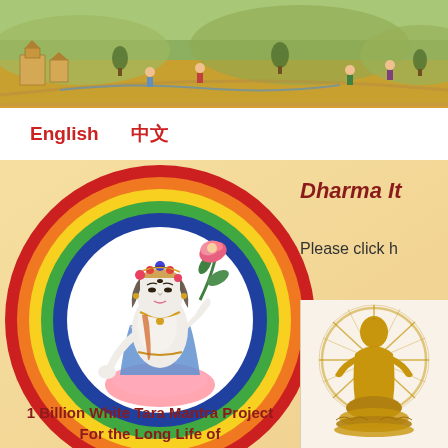[Figure (photo): Tibetan thangka painting banner showing Buddhist landscape with figures, monastery buildings, and colorful scenery across the top of the page]
English   中文
[Figure (illustration): White Tara deity illustration within a rainbow-colored circle (red, orange, yellow, green, blue rings), seated in meditation posture, holding lotus flower, wearing jewelry and colorful robes]
Dharma It
Please click h
[Figure (photo): Partial view of a golden/bronze Buddhist statue on right side of page]
1 Billion White Tara Mantra Project
For the Long Life of